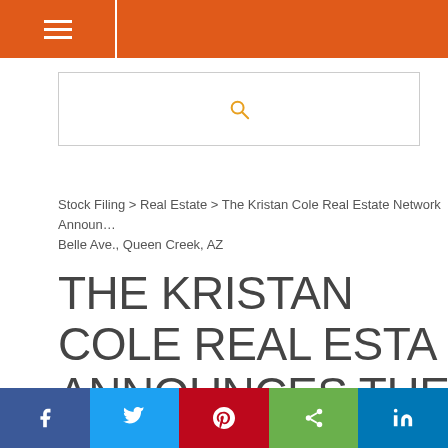Navigation menu header bar with hamburger icon
[Figure (screenshot): Search bar with orange magnifying glass icon]
Stock Filing > Real Estate > The Kristan Cole Real Estate Network Announces the Sale of an … 3770 W Belle Ave., Queen Creek, AZ
THE KRISTAN COLE REAL ESTATE NETWORK ANNOUNCES THE SALE OF AN … 3770 W BELLE AVE., QUEEN CREEK, AZ
Social share bar: Facebook, Twitter, Pinterest, Share, LinkedIn